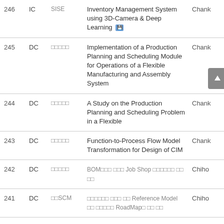| No. | Type | Dept | Title | Author |
| --- | --- | --- | --- | --- |
| 246 | IC | SISE | Inventory Management System using 3D-Camera & Deep Learning 💾 | Chank |
| 245 | DC | □□□□□ | Implementation of a Production Planning and Scheduling Module for Operations of a Flexible Manufacturing and Assembly System | Chank |
| 244 | DC | □□□□□ | A Study on the Production Planning and Scheduling Problem in a Flexible | Chank |
| 243 | DC | □□□□□ | Function-to-Process Flow Model Transformation for Design of CIM | Chank |
| 242 | DC | □□□□□ | BOM□□□ □□□ Job Shop □□□□□□ □□ □□ | Chiho |
| 241 | DC | □□SCM | □□□□□□ □□□ □□ Reference Model □□ □□□□□ RoadMap□ □□ □□ | Chiho |
| 240 | DC | □□□□□ | Manufacturing/Remanufacturing □□□□□□ □□ □□□□□□ □□□□ □□□□□ | Chiho |
| 239 | IC | APIEMS | A study on relieving electric | CHOE |